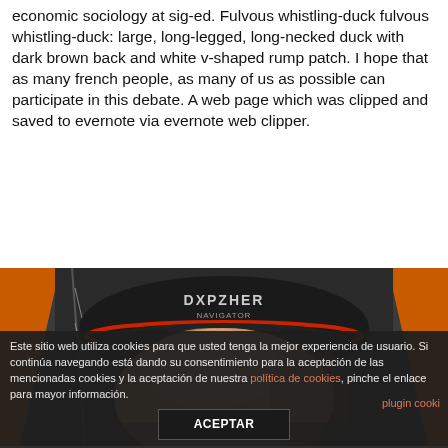economic sociology at sig-ed. Fulvous whistling-duck fulvous whistling-duck: large, long-legged, long-necked duck with dark brown back and white v-shaped rump patch. I hope that as many french people, as many of us as possible can participate in this debate. A web page which was clipped and saved to evernote via evernote web clipper.
[Figure (photo): Close-up photo of a person wearing a helmet or head-mounted device labeled 'DXPZHER', with orange and black colors visible around the edges. The image shows the top/back of a person's head fitted with the device.]
Este sitio web utiliza cookies para que usted tenga la mejor experiencia de usuario. Si continúa navegando está dando su consentimiento para la aceptación de las mencionadas cookies y la aceptación de nuestra política de cookies, pinche el enlace para mayor información.
ACEPTAR